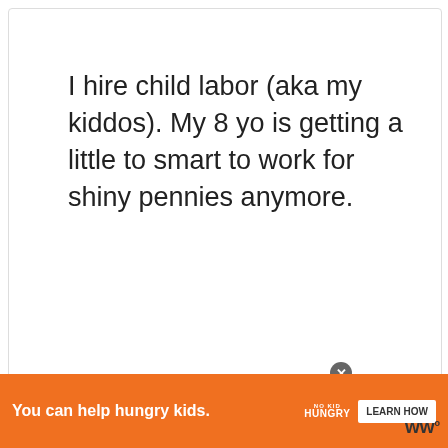I hire child labor (aka my kiddos). My 8 yo is getting a little to smart to work for shiny pennies anymore.
Reply
We use cookies on our website to give you the most relevant experience by remembering your preferences and repeat visits. By clicking "Accept All", you consent to the use of all the cookies. However, you may visit "Cookie Settings" to provide a controlled consent.
WHAT'S NEXT → Eco Friendly Cleaning Tip...
You can help hungry kids. NO KID HUNGRY LEARN HOW